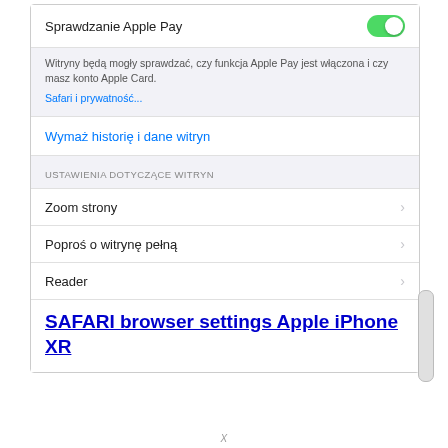[Figure (screenshot): iOS Safari browser settings screen showing: Sprawdzanie Apple Pay toggle (ON/green), informational text about website Apple Pay checking, 'Safari i prywatność...' link, 'Wymaż historię i dane witryn' link, USTAWIENIA DOTYCZĄCE WITRYN section header, Zoom strony menu item with chevron, Poproś o witrynę pełną menu item with chevron, Reader menu item with chevron]
SAFARI browser settings Apple iPhone XR